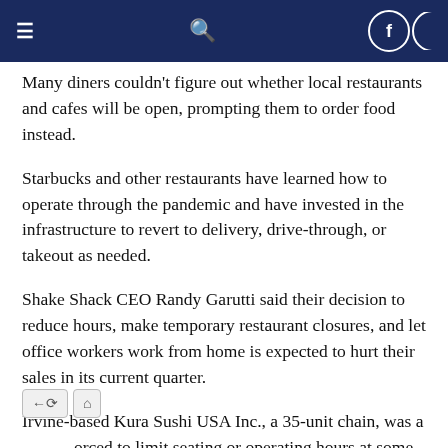Navigation bar with menu, search, and social icons
Many diners couldn't figure out whether local restaurants and cafes will be open, prompting them to order food instead.
Starbucks and other restaurants have learned how to operate through the pandemic and have invested in the infrastructure to revert to delivery, drive-through, or takeout as needed.
Shake Shack CEO Randy Garutti said their decision to reduce hours, make temporary restaurant closures, and let office workers work from home is expected to hurt their sales in its current quarter.
Irvine-based Kura Sushi USA Inc., a 35-unit chain, was also forced to limit seating or operating hours at some of its restaurants, complicating its operations.